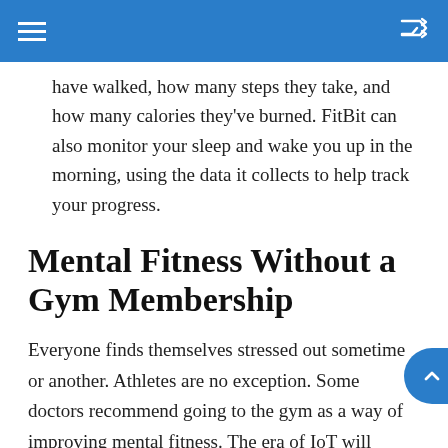have walked, how many steps they take, and how many calories they've burned. FitBit can also monitor your sleep and wake you up in the morning, using the data it collects to help track your progress.
Mental Fitness Without a Gym Membership
Everyone finds themselves stressed out sometime or another. Athletes are no exception. Some doctors recommend going to the gym as a way of improving mental fitness. The era of IoT will eradicate the requirement of getting a gym membership to get rid of stress when a healthcare provider recommends